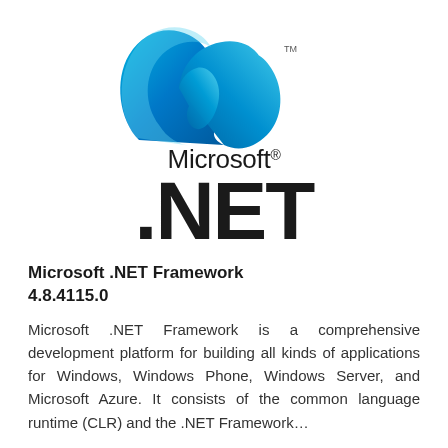[Figure (logo): Microsoft .NET logo: blue stylized infinity/wave ribbon mark (MSN butterfly style) with TM symbol, above the text 'Microsoft®' and large bold '.NET']
Microsoft .NET Framework 4.8.4115.0
Microsoft .NET Framework is a comprehensive development platform for building all kinds of applications for Windows, Windows Phone, Windows Server, and Microsoft Azure. It consists of the common language runtime (CLR) and the .NET Framework…